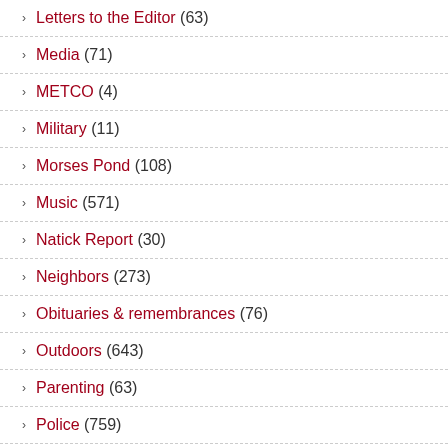Letters to the Editor (63)
Media (71)
METCO (4)
Military (11)
Morses Pond (108)
Music (571)
Natick Report (30)
Neighbors (273)
Obituaries & remembrances (76)
Outdoors (643)
Parenting (63)
Police (759)
Crime (707)